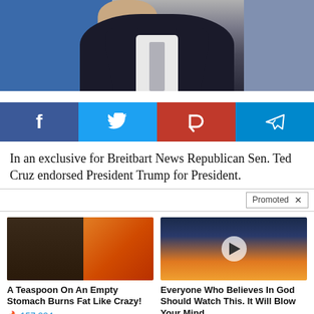[Figure (photo): Photo of a man in a dark suit with grey tie against a blue background, cropped to show torso and partial face]
[Figure (infographic): Social media share bar with Facebook (dark blue), Twitter (light blue), Parler (red), and Telegram (blue) buttons]
In an exclusive for Breitbart News Republican Sen. Ted Cruz endorsed President Trump for President.
Promoted X
[Figure (photo): Advertisement image showing fitness/food content - a person with abs and a spoon with orange powder/spice]
A Teaspoon On An Empty Stomach Burns Fat Like Crazy!
🔥 157,224
[Figure (photo): Advertisement image showing a dramatic sky with sunlight and a video play button overlay]
Everyone Who Believes In God Should Watch This. It Will Blow Your Mind
🔥 43,959